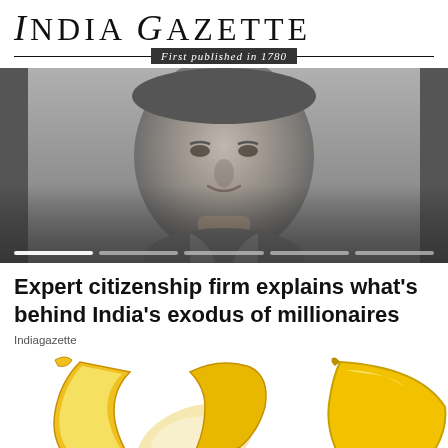India Gazette — First published in 1780
[Figure (photo): Black and white close-up portrait photo of an Indian man in a collared shirt, smiling slightly, with a slider/carousel navigation bar at the bottom]
Expert citizenship firm explains what's behind India's exodus of millionaires
Indiagazette
[Figure (photo): Close-up photo of a peeled banana on the left and a whole banana on the right against a white background]